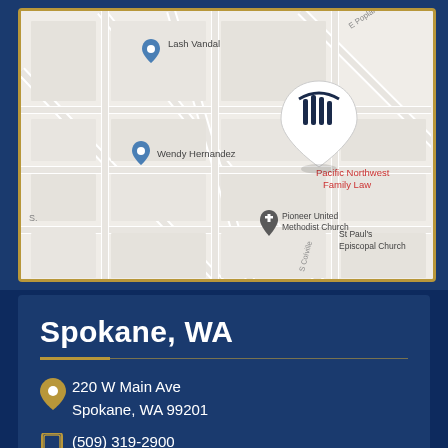[Figure (map): Google Maps screenshot showing the location of Pacific Northwest Family Law in Spokane, WA, with nearby landmarks: Lash Vandal, Wendy Hernandez, Pioneer United Methodist Church, St Paul's Episcopal Church. A white pin with the law firm's logo and name in red marks the office location.]
Spokane, WA
220 W Main Ave
Spokane, WA 99201
(509) 319-2900